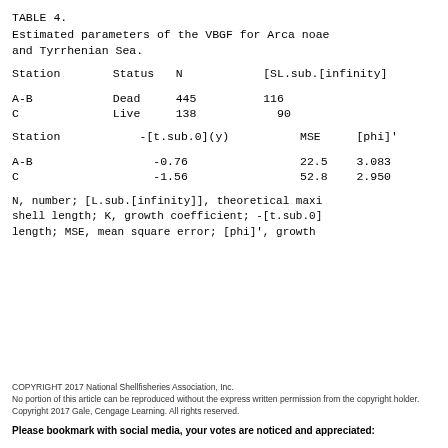TABLE 4.
Estimated parameters of the VBGF for Arca noae and Tyrrhenian Sea.
| Station | Status | N | [SL.sub.[infinity] |
| --- | --- | --- | --- |
| A-B | Dead | 445 | 116 |
| C | Live | 138 | 90 |
| Station | -[t.sub.0](y) | MSE | [phi]' |
| --- | --- | --- | --- |
| A-B | -0.76 | 22.5 | 3.083 |
| C | -1.56 | 52.8 | 2.950 |
N, number; [L.sub.[infinity]], theoretical maxi shell length; K, growth coefficient; -[t.sub.0] length; MSE, mean square error; [phi]', growth
COPYRIGHT 2017 National Shellfisheries Association, Inc.
No portion of this article can be reproduced without the express written permission from the copyright holder.
Copyright 2017 Gale, Cengage Learning. All rights reserved.
Please bookmark with social media, your votes are noticed and appreciated: